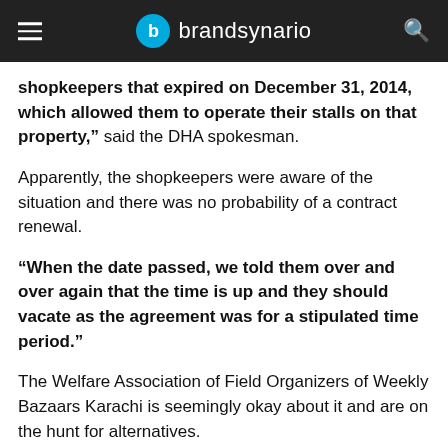brandsynario
shopkeepers that expired on December 31, 2014, which allowed them to operate their stalls on that property," said the DHA spokesman.
Apparently, the shopkeepers were aware of the situation and there was no probability of a contract renewal.
"When the date passed, we told them over and over again that the time is up and they should vacate as the agreement was for a stipulated time period."
The Welfare Association of Field Organizers of Weekly Bazaars Karachi is seemingly okay about it and are on the hunt for alternatives.
"We all know that it was a well-established and